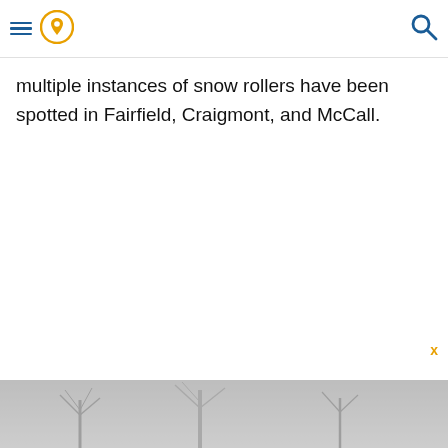Navigation header with hamburger menu, location pin icon, and search icon
multiple instances of snow rollers have been spotted in Fairfield, Craigmont, and McCall.
[Figure (photo): Winter outdoor scene with bare trees in a snowy or misty landscape, gray tones]